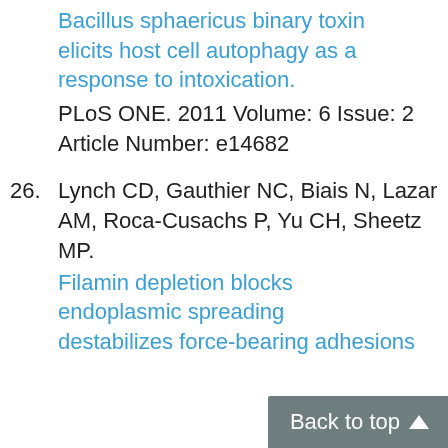Bacillus sphaericus binary toxin elicits host cell autophagy as a response to intoxication.
PLoS ONE. 2011 Volume: 6 Issue: 2 Article Number: e14682
26. Lynch CD, Gauthier NC, Biais N, Lazar AM, Roca-Cusachs P, Yu CH, Sheetz MP. Filamin depletion blocks endoplasmic spreading and destabilizes force-bearing adhesions